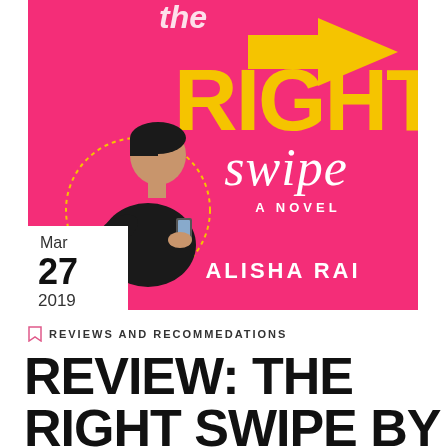[Figure (illustration): Book cover of 'The Right Swipe' by Alisha Rai. Hot pink background with bold yellow text 'RIGHT' and white script 'swipe', subtitle 'A NOVEL', illustrated man looking at phone in a dotted circle, yellow arrow. Date overlay Mar 27 2019 in bottom-left corner.]
REVIEWS AND RECOMMEDATIONS
REVIEW: THE RIGHT SWIPE BY